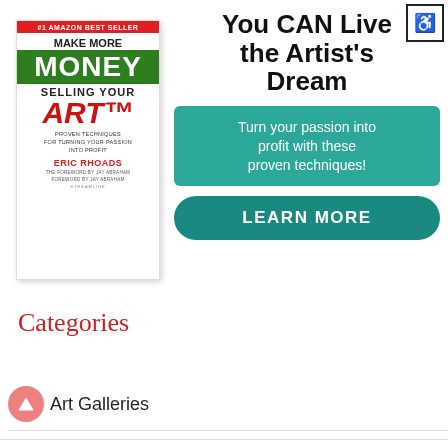[Figure (illustration): Advertisement banner featuring a book cover for 'Make More Money Selling Your Art' by Eric Rhoads on the left, and promotional text 'You CAN Live the Artist's Dream' with a teal box 'Turn your passion into profit with these proven techniques!' and a 'LEARN MORE' button on the right. An accessibility icon is in the top right corner.]
Categories
Art Galleries